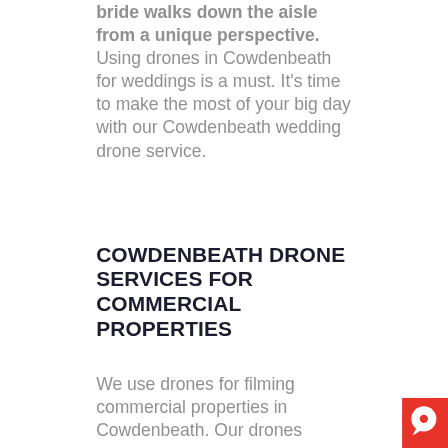bride walks down the aisle from a unique perspective. Using drones in Cowdenbeath for weddings is a must. It's time to make the most of your big day with our Cowdenbeath wedding drone service.
COWDENBEATH DRONE SERVICES FOR COMMERCIAL PROPERTIES
We use drones for filming commercial properties in Cowdenbeath. Our drones
[Figure (other): Red circular chat widget icon in the bottom-right corner]